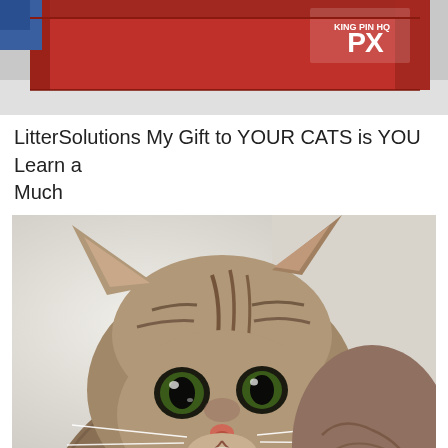[Figure (photo): Top portion of a photo showing a red cardboard box with 'PX' text visible in the upper right corner, on a light background.]
LitterSolutions My Gift to YOUR CATS is YOU Learn a Much
[Figure (photo): Close-up photo of a tabby cat with large green eyes, brown and black striped fur, white whiskers, and a pink nose, looking directly at the camera against a light background.]